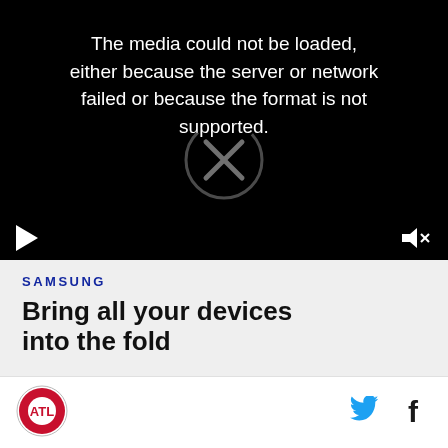[Figure (screenshot): Video player with black background showing error message: 'The media could not be loaded, either because the server or network failed or because the format is not supported.' A circular X icon overlays the center. A play button and muted speaker icon appear in the bottom control bar.]
SAMSUNG
Bring all your devices into the fold
[Figure (logo): Atlanta Hawks team logo (circular, red and white)]
[Figure (logo): Twitter bird icon in cyan blue]
[Figure (logo): Facebook 'f' icon in dark blue/black]